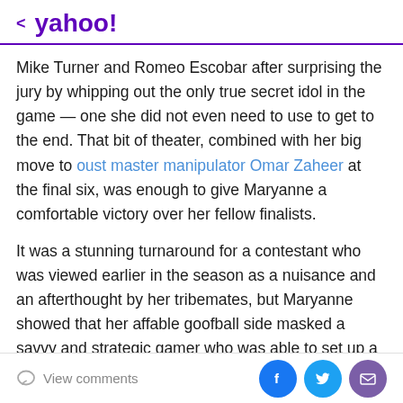< yahoo!
Mike Turner and Romeo Escobar after surprising the jury by whipping out the only true secret idol in the game — one she did not even need to use to get to the end. That bit of theater, combined with her big move to oust master manipulator Omar Zaheer at the final six, was enough to give Maryanne a comfortable victory over her fellow finalists.
It was a stunning turnaround for a contestant who was viewed earlier in the season as a nuisance and an afterthought by her tribemates, but Maryanne showed that her affable goofball side masked a savvy and strategic gamer who was able to set up a chess-board
View comments